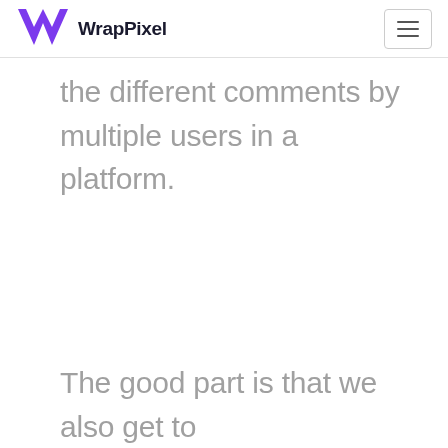WrapPixel
the different comments by multiple users in a platform.
The good part is that we also get to